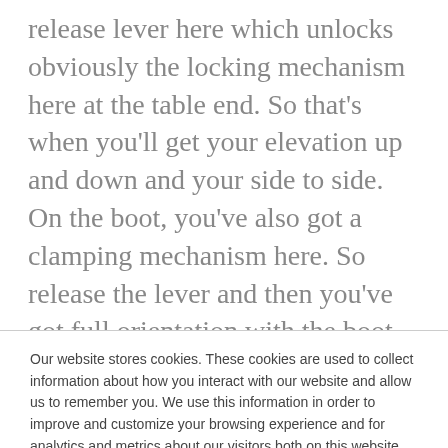release lever here which unlocks obviously the locking mechanism here at the table end. So that's when you'll get your elevation up and down and your side to side. On the boot, you've also got a clamping mechanism here. So release the lever and then you've got full orientation with the boot for the for patient lag and foot positioning. What you'll also see on the boot is a label sort of pictorially showing you how to
Our website stores cookies. These cookies are used to collect information about how you interact with our website and allow us to remember you. We use this information in order to improve and customize your browsing experience and for analytics and metrics about our visitors both on this website and other media. To find out more about the cookies we use, see our Privacy Policy.